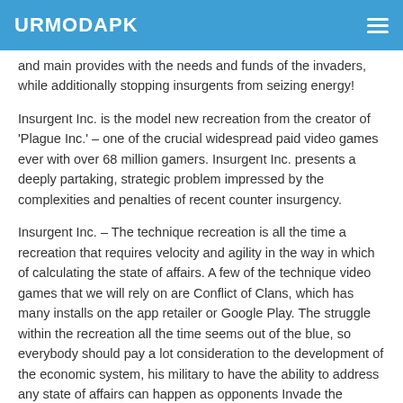URMODAPK
and main provides with the needs and funds of the invaders, while additionally stopping insurgents from seizing energy!
Insurgent Inc. is the model new recreation from the creator of 'Plague Inc.' – one of the crucial widespread paid video games ever with over 68 million gamers. Insurgent Inc. presents a deeply partaking, strategic problem impressed by the complexities and penalties of recent counter insurgency.
Insurgent Inc. – The technique recreation is all the time a recreation that requires velocity and agility in the way in which of calculating the state of affairs. A few of the technique video games that we will rely on are Conflict of Clans, which has many installs on the app retailer or Google Play. The struggle within the recreation all the time seems out of the blue, so everybody should pay a lot consideration to the development of the economic system, his military to have the ability to address any state of affairs can happen as opponents Invade the invaders,… If you're a fan of technique video games and wish to end up a brand new land to expertise, then you must strive Insurgent Inc.